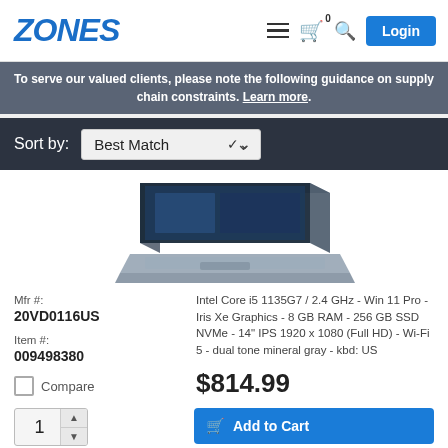ZONES — Login
To serve our valued clients, please note the following guidance on supply chain constraints. Learn more.
Sort by: Best Match
[Figure (photo): Lenovo ThinkBook laptop shown from an angle, open, with keyboard and display visible, in mineral gray color.]
Mfr #: 20VD0116US
Item #: 009498380
Intel Core i5 1135G7 / 2.4 GHz - Win 11 Pro - Iris Xe Graphics - 8 GB RAM - 256 GB SSD NVMe - 14" IPS 1920 x 1080 (Full HD) - Wi-Fi 5 - dual tone mineral gray - kbd: US
$814.99
Compare
1  Add to Cart